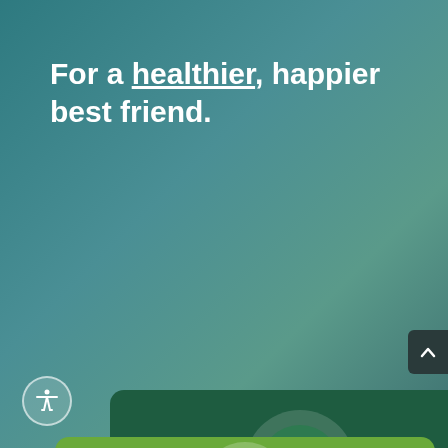For a healthier, happier best friend.
[Figure (screenshot): Contact card with dark green background showing an email icon (envelope) in a circle, 'Email' label in bold white text, and underlined email address 'nwwvet@gmail.com'. Below is a lighter green card partially visible with a phone icon circle.]
Email
nwwvet@gmail.com